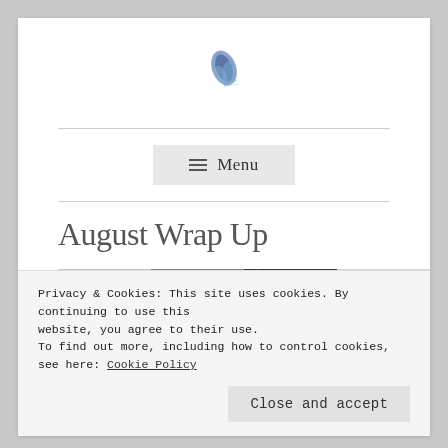[Figure (logo): Blue watercolor leaf/feather logo icon]
≡ Menu
August Wrap Up
[Figure (photo): Horizontal photo strip showing multiple images: blue flowers, a spiky plant, a book with emblematic cover, and a snowy/gold winter scene]
Privacy & Cookies: This site uses cookies. By continuing to use this website, you agree to their use.
To find out more, including how to control cookies, see here: Cookie Policy
Close and accept